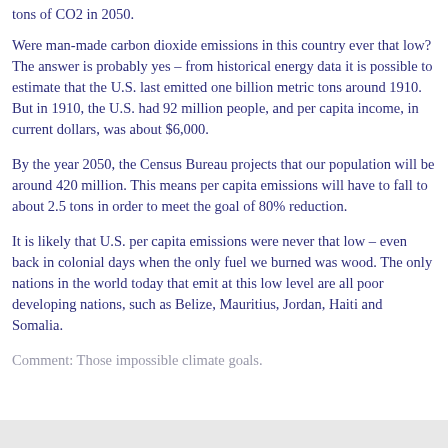tons of CO2 in 2050.
Were man-made carbon dioxide emissions in this country ever that low? The answer is probably yes – from historical energy data it is possible to estimate that the U.S. last emitted one billion metric tons around 1910. But in 1910, the U.S. had 92 million people, and per capita income, in current dollars, was about $6,000.
By the year 2050, the Census Bureau projects that our population will be around 420 million. This means per capita emissions will have to fall to about 2.5 tons in order to meet the goal of 80% reduction.
It is likely that U.S. per capita emissions were never that low – even back in colonial days when the only fuel we burned was wood. The only nations in the world today that emit at this low level are all poor developing nations, such as Belize, Mauritius, Jordan, Haiti and Somalia.
Comment: Those impossible climate goals.